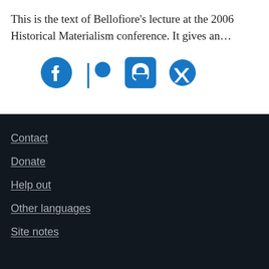This is the text of Bellofiore’s lecture at the 2006 Historical Materialism conference. It gives an…
[Figure (infographic): Four social media icons in blue: Facebook, Patreon, Mastodon, Twitter]
Contact
Donate
Help out
Other languages
Site notes